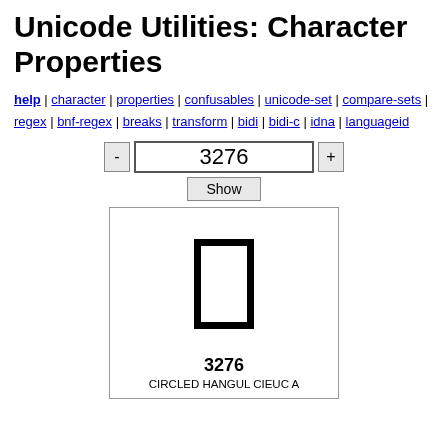Unicode Utilities: Character Properties
help | character | properties | confusables | unicode-set | compare-sets | regex | bnf-regex | breaks | transform | bidi | bidi-c | idna | languageid
[Figure (other): Unicode character display box showing code point 3276 (CIRCLED HANGUL CIEUC A) with a tall rectangular glyph outline, number 3276 and character name below]
3276
CIRCLED HANGUL CIEUC A